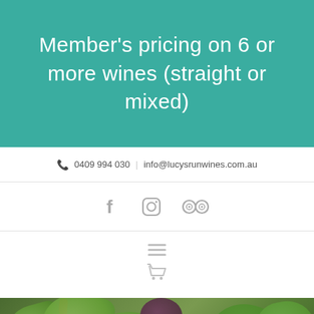Member's pricing on 6 or more wines (straight or mixed)
📞 0409 994 030  |  info@lucysrunwines.com.au
[Figure (screenshot): Social media icons: Facebook, Instagram, TripAdvisor]
[Figure (screenshot): Navigation hamburger menu icon and shopping cart icon]
[Figure (photo): Vineyard grapevine leaves close-up photograph with overlay text 'Nick Paterson']
Nick Paterson